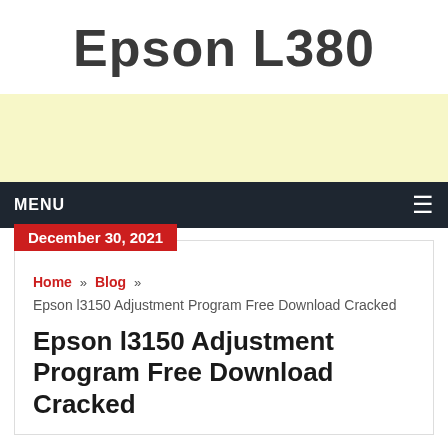Epson L380
[Figure (other): Yellow advertisement banner placeholder]
MENU ≡
December 30, 2021
Home » Blog » Epson l3150 Adjustment Program Free Download Cracked
Epson l3150 Adjustment Program Free Download Cracked